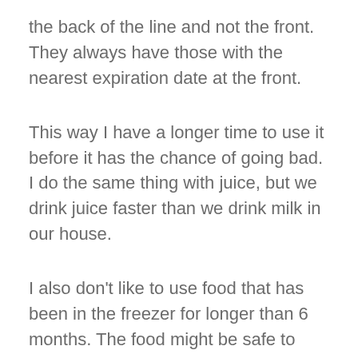the back of the line and not the front. They always have those with the nearest expiration date at the front.
This way I have a longer time to use it before it has the chance of going bad. I do the same thing with juice, but we drink juice faster than we drink milk in our house.
I also don't like to use food that has been in the freezer for longer than 6 months. The food might be safe to eat, but you lose some quality and freshness if you leave it in the freezer too long.